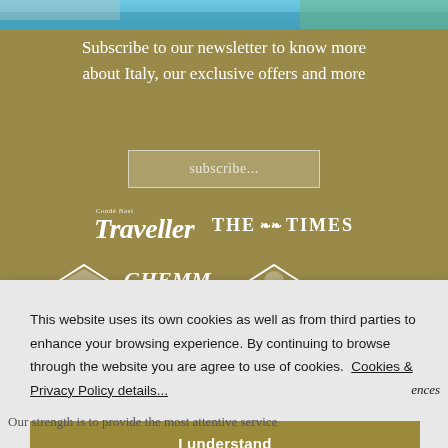[Figure (photo): Top strip: partial photo of pool/water and greenery]
Subscribe to our newsletter to know more about Italy, our exclusive offers and more
subscribe...
[Figure (logo): Condé Nast Traveller logo in white]
[Figure (logo): The Times logo in white with ornamental crest]
This website uses its own cookies as well as from third parties to enhance your browsing experience. By continuing to browse through the website you are agree to use of cookies.  Cookies & Privacy Policy details...
I understand
ences
Our strength is to provide the most attentive service